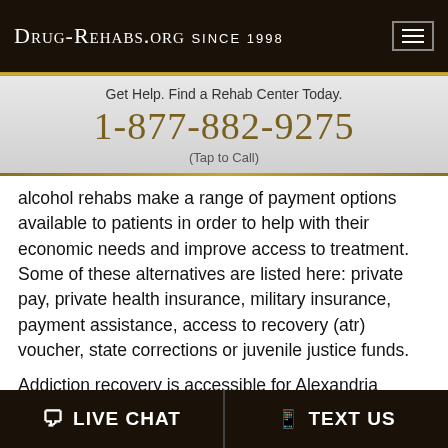Drug-Rehabs.org Since 1998
Get Help. Find a Rehab Center Today.
1-877-882-9275
(Tap to Call)
alcohol rehabs make a range of payment options available to patients in order to help with their economic needs and improve access to treatment. Some of these alternatives are listed here: private pay, private health insurance, military insurance, payment assistance, access to recovery (atr) voucher, state corrections or juvenile justice funds.
Addiction recovery is accessible for Alexandria residents through many different programs,
LIVE CHAT   TEXT US